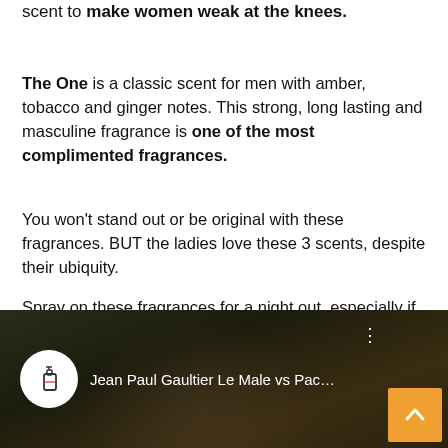scent to make women weak at the knees.
The One is a classic scent for men with amber, tobacco and ginger notes. This strong, long lasting and masculine fragrance is one of the most complimented fragrances.
You won't stand out or be original with these fragrances. BUT the ladies love these 3 scents, despite their ubiquity.
Spray on these fragrances for a night out, especially if it's an outdoor event because the sillage is strong.
[Figure (screenshot): Video thumbnail showing Jean Paul Gaultier Le Male vs Pac... with a fragrance bottle icon in a white circle, dark background with a face partially visible, and an orange scroll-to-top button in the bottom right corner]